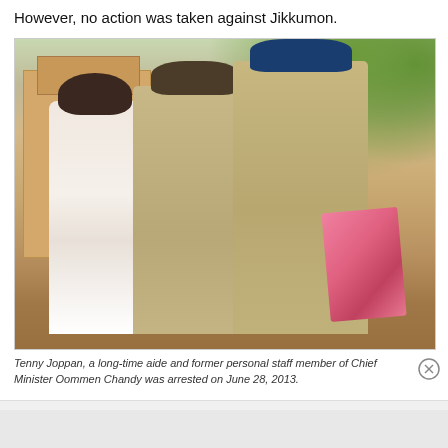However, no action was taken against Jikkumon.
[Figure (photo): Tenny Joppan, a man in a white shirt with a beard, being escorted by police officers in khaki uniforms. One officer holds pink folders. Scene is outdoors near a building.]
Tenny Joppan, a long-time aide and former personal staff member of Chief Minister Oommen Chandy was arrested on June 28, 2013.
Advertisements